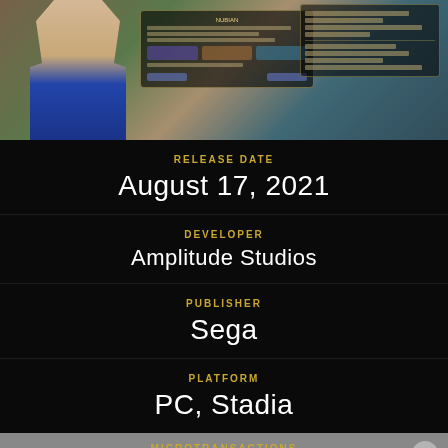[Figure (screenshot): Game screenshot showing a character in ancient Egyptian-style clothing on the left, a group character selection panel in the center, and UI panels with game stats on the right, over a world map background.]
RELEASE DATE
August 17, 2021
DEVELOPER
Amplitude Studios
PUBLISHER
Sega
PLATFORM
PC, Stadia
MICROTRANSACTIONS
None